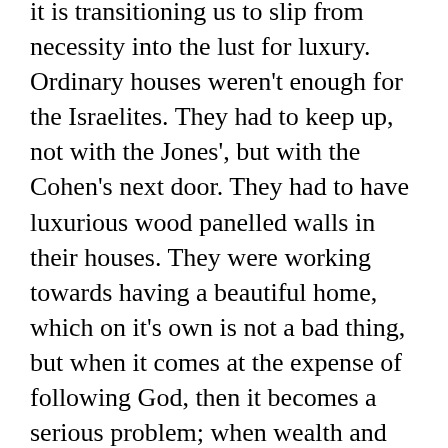it is transitioning us to slip from necessity into the lust for luxury. Ordinary houses weren't enough for the Israelites. They had to keep up, not with the Jones', but with the Cohen's next door. They had to have luxurious wood panelled walls in their houses. They were working towards having a beautiful home, which on it's own is not a bad thing, but when it comes at the expense of following God, then it becomes a serious problem; when wealth and luxury obscures your priorities, then it's a serious problem.
The bible is full of warnings of how wealth has the potential of drawing us away from God, of causing us to have wrong priorities. And on we go to the how...